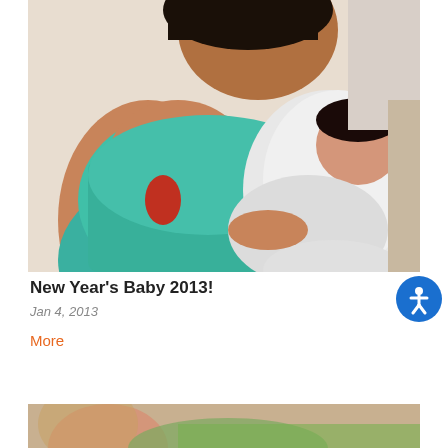[Figure (photo): A woman in a teal/blue patterned dress holding a newborn baby wrapped in a white blanket. The baby appears to be sleeping.]
New Year's Baby 2013!
Jan 4, 2013
More
[Figure (other): Chat bubble overlay with text: 'Hi! I'm Hope. How can I help you?' with an avatar of a woman with glasses and a blue accessibility icon button.]
[Figure (photo): Partial view of another photo at the bottom of the page showing a person.]